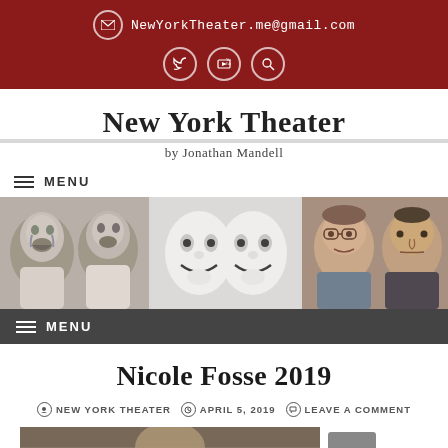NewYorkTheater.me@gmail.com
New York Theater
by Jonathan Mandell
MENU
[Figure (photo): Banner image strip with three panels: crying babies (black and white), theatrical masks (white comedy/tragedy faces), and two men's faces (colorized)]
MENU
Nicole Fosse 2019
NEW YORK THEATER   APRIL 5, 2019   LEAVE A COMMENT
[Figure (photo): Partial photo of a person, likely Nicole Fosse, visible from the waist up against a blurred background]